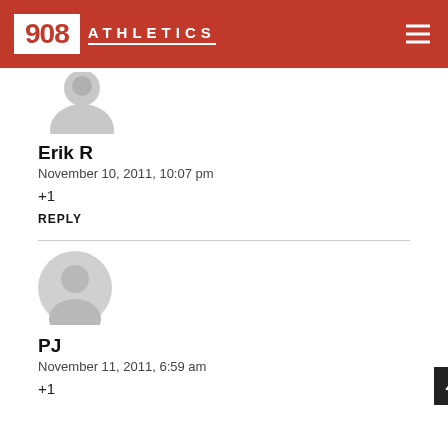908 ATHLETICS
[Figure (illustration): Gray default user avatar icon (small, cropped at top)]
Erik R
November 10, 2011, 10:07 pm
+1
REPLY
[Figure (illustration): Gray default user avatar icon (larger)]
PJ
November 11, 2011, 6:59 am
+1